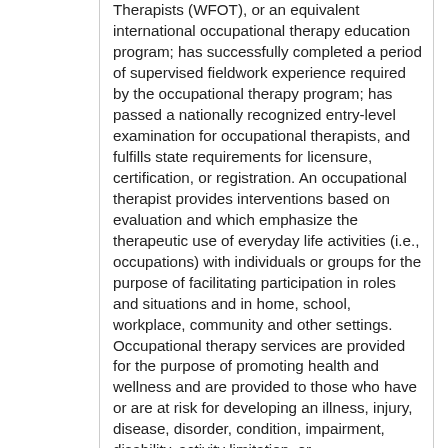Therapists (WFOT), or an equivalent international occupational therapy education program; has successfully completed a period of supervised fieldwork experience required by the occupational therapy program; has passed a nationally recognized entry-level examination for occupational therapists, and fulfills state requirements for licensure, certification, or registration. An occupational therapist provides interventions based on evaluation and which emphasize the therapeutic use of everyday life activities (i.e., occupations) with individuals or groups for the purpose of facilitating participation in roles and situations and in home, school, workplace, community and other settings. Occupational therapy services are provided for the purpose of promoting health and wellness and are provided to those who have or are at risk for developing an illness, injury, disease, disorder, condition, impairment, disability, activity limitation, or